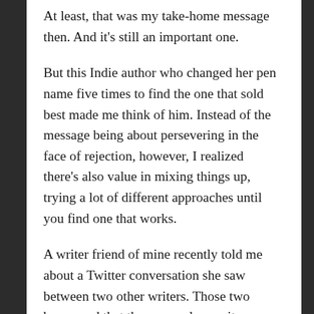At least, that was my take-home message then. And it's still an important one.
But this Indie author who changed her pen name five times to find the one that sold best made me think of him. Instead of the message being about persevering in the face of rejection, however, I realized there's also value in mixing things up, trying a lot of different approaches until you find one that works.
A writer friend of mine recently told me about a Twitter conversation she saw between two other writers. Those two bemoaned that they were slow writers, comparing themselves to elephants with enormously long gestation periods. (We writers love our analogies.) In comparison, they